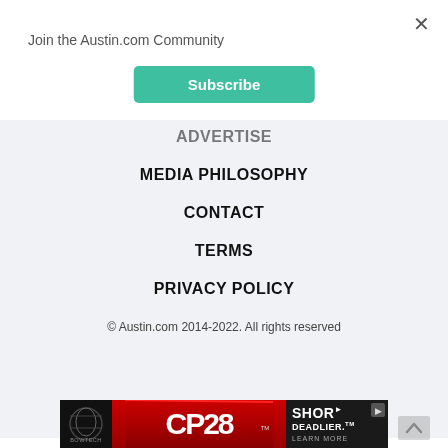Join the Austin.com Community
Subscribe
ADVERTISE
MEDIA PHILOSOPHY
CONTACT
TERMS
PRIVACY POLICY
© Austin.com 2014-2022. All rights reserved
AN ELITE CAFEMEDIA PUBLISHER
[Figure (photo): Bowtech CP28 bow advertisement banner with red background, showing compound bow silhouette on left, CP28 logo in center, and 'SHORTER. DEADLIER.' tagline on right]